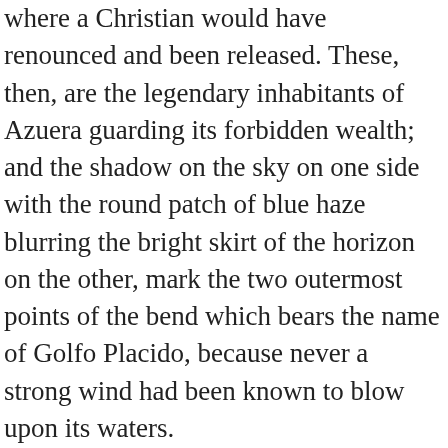where a Christian would have renounced and been released. These, then, are the legendary inhabitants of Azuera guarding its forbidden wealth; and the shadow on the sky on one side with the round patch of blue haze blurring the bright skirt of the horizon on the other, mark the two outermost points of the bend which bears the name of Golfo Placido, because never a strong wind had been known to blow upon its waters.
On crossing the imaginary line drawn from Punta Mala to Azuera the ships from Europe bound to Sulaco lose at once the strong breezes of the ocean. They become the prey of capricious airs that play with them for thirty hours at a stretch sometimes. Before them the head of the calm gulf is filled on most days of the year by a great body of motionless and opaque clouds. On the rare clear mornings another shadow is cast upon the sweep of the